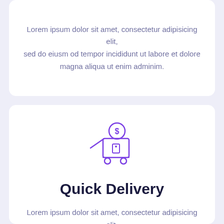Lorem ipsum dolor sit amet, consectetur adipisicing elit, sed do eiusm od tempor incididunt ut labore et dolore magna aliqua ut enim adminim.
[Figure (illustration): Shopping cart icon with a dollar coin on top and a price tag on the cart body, drawn in purple outline style]
Quick Delivery
Lorem ipsum dolor sit amet, consectetur adipisicing elit, sed do eiusm od tempor incididunt ut labore et dolore